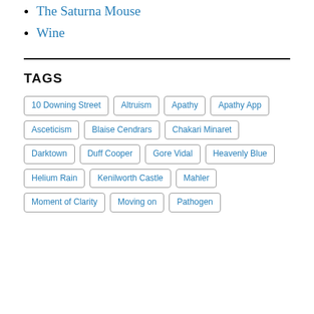The Saturna Mouse
Wine
TAGS
10 Downing Street
Altruism
Apathy
Apathy App
Asceticism
Blaise Cendrars
Chakari Minaret
Darktown
Duff Cooper
Gore Vidal
Heavenly Blue
Helium Rain
Kenilworth Castle
Mahler
Moment of Clarity
Moving on
Pathogen